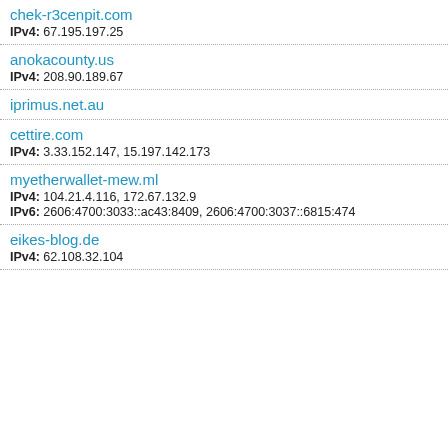chek-r3cenpit.com
IPv4: 67.195.197.25
anokacounty.us
IPv4: 208.90.189.67
iprimus.net.au
cettire.com
IPv4: 3.33.152.147, 15.197.142.173
myetherwallet-mew.ml
IPv4: 104.21.4.116, 172.67.132.9
IPv6: 2606:4700:3033::ac43:8409, 2606:4700:3037::6815:474
eikes-blog.de
IPv4: 62.108.32.104